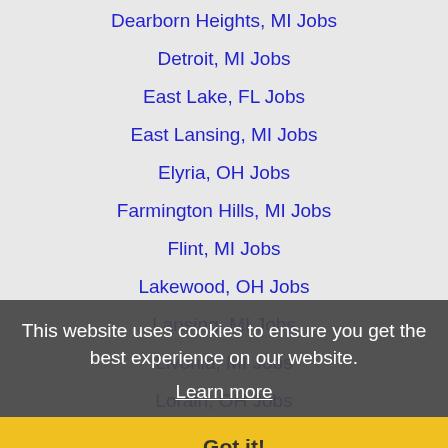Dearborn Heights, MI Jobs
Detroit, MI Jobs
East Lake, FL Jobs
East Lansing, MI Jobs
Elyria, OH Jobs
Farmington Hills, MI Jobs
Flint, MI Jobs
Lakewood, OH Jobs
Lansing, MI Jobs
Livonia, MI Jobs
Lorain, OH Jobs
Novi, MI Jobs
Parma, OH Jobs
Pontiac, MI Jobs
Redford, MI Jobs
Rochester Hills, MI Jobs
Roseville, MI Jobs
Royal Oak, MI Jobs
This website uses cookies to ensure you get the best experience on our website. Learn more Got it!